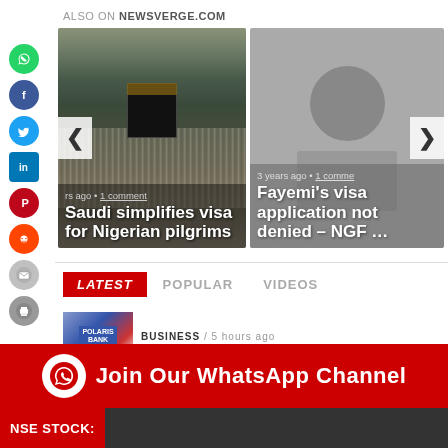ALSO ON NEWSVERGE.COM
[Figure (photo): Carousel card: photo of Mecca/Kaaba with crowds of pilgrims. Caption: 'rs ago • 1 comment' and title 'Saudi simplifies visa for Nigerian pilgrims']
[Figure (photo): Carousel card: grey placeholder image. Caption: '3 years ago • 1 comment' and title 'Fayemi's visa application not denied – NGF …']
LATEST   POPULAR   VIDEOS
BUSINESS / 5 hours ago
[Figure (screenshot): Red banner: WhatsApp icon and text 'Join Our WhatsApp Channel']
NSE STOCK: